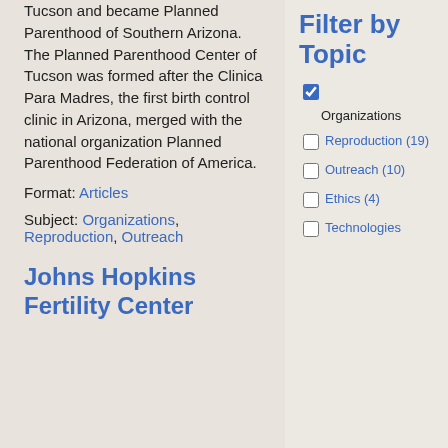Tucson and became Planned Parenthood of Southern Arizona. The Planned Parenthood Center of Tucson was formed after the Clinica Para Madres, the first birth control clinic in Arizona, merged with the national organization Planned Parenthood Federation of America.
Format: Articles
Subject: Organizations, Reproduction, Outreach
Filter by Topic
☑ Organizations
☐ Reproduction (19)
☐ Outreach (10)
☐ Ethics (4)
☐ Technologies
Johns Hopkins Fertility Center